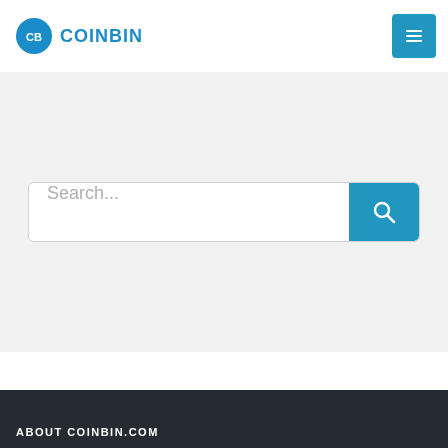[Figure (logo): CoinBin logo: blue circle with CB initials and COINBIN text in blue]
[Figure (other): Blue hamburger menu button in top right corner]
[Figure (other): Search bar with placeholder text 'Search...' and blue search button with magnifying glass icon on gray background]
ABOUT COINBIN.COM